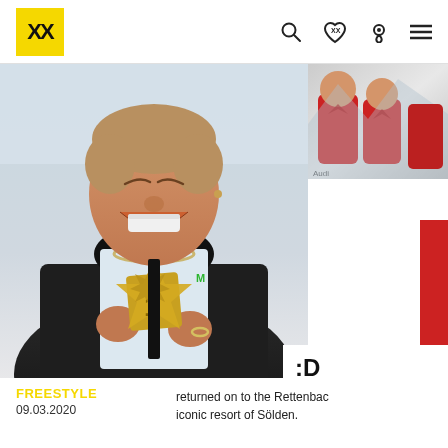XX (logo) | search, wishlist, location, menu icons
[Figure (photo): Young smiling man holding X Games gold medals/trophies, wearing dark jacket over white shirt with Monster Energy logo, chain necklace, photographed against a light snowy background]
[Figure (photo): Small secondary photo top-right showing athletes in red gear with Audi branding]
ED DE
de th
returned on to the Rettenbac iconic resort of Sölden.
FREESTYLE
09.03.2020